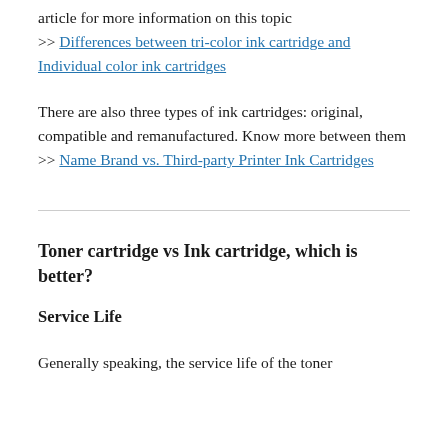article for more information on this topic >> Differences between tri-color ink cartridge and Individual color ink cartridges
There are also three types of ink cartridges: original, compatible and remanufactured. Know more between them >> Name Brand vs. Third-party Printer Ink Cartridges
Toner cartridge vs Ink cartridge, which is better?
Service Life
Generally speaking, the service life of the toner